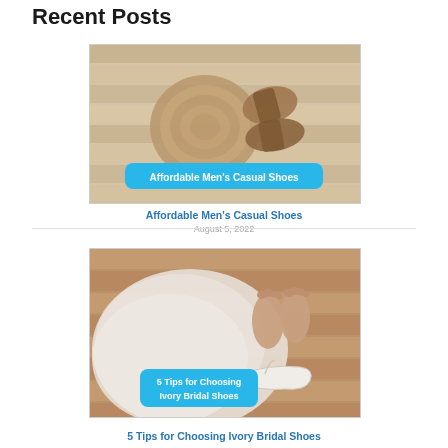Recent Posts
[Figure (photo): Top-down view of men's casual shoes on wooden floor with a round woven mat, with blue label overlay reading 'Affordable Men's Casual Shoes']
Affordable Men's Casual Shoes
August 5, 2022
[Figure (photo): Feet of a person in ivory bridal shoes with white tulle dress on wooden floor, with blue label overlay reading '5 Tips for Choosing Ivory Bridal Shoes']
5 Tips for Choosing Ivory Bridal Shoes